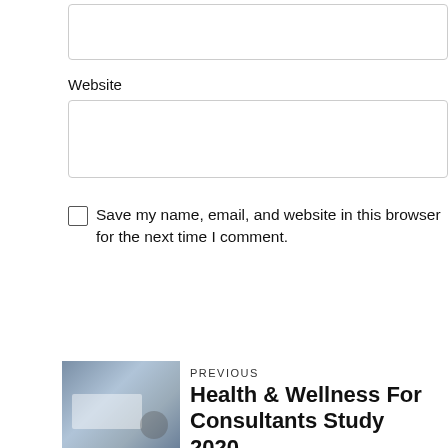[Figure (other): Empty input text box (top, partially visible)]
Website
[Figure (other): Website input text field box]
Save my name, email, and website in this browser for the next time I comment.
[Figure (other): Post Comment button with right arrow]
PREVIOUS
Health & Wellness For Consultants Study 2020
[Figure (photo): Person working on laptop with charts/graphs visible on screen]